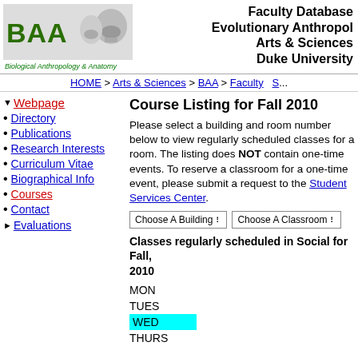[Figure (logo): BAA Biological Anthropology & Anatomy logo with skull imagery]
Faculty Database Evolutionary Anthropology Arts & Sciences Duke University
HOME > Arts & Sciences > BAA > Faculty  S...
Webpage
Directory
Publications
Research Interests
Curriculum Vitae
Biographical Info
Courses
Contact
Evaluations
Course Listing for Fall 2010
Please select a building and room number below to view regularly scheduled classes for a room. The listing does NOT contain one-time events. To reserve a classroom for a one-time event, please submit a request to the Student Services Center.
Classes regularly scheduled in Social for Fall, 2010
MON
TUES
WED
THURS